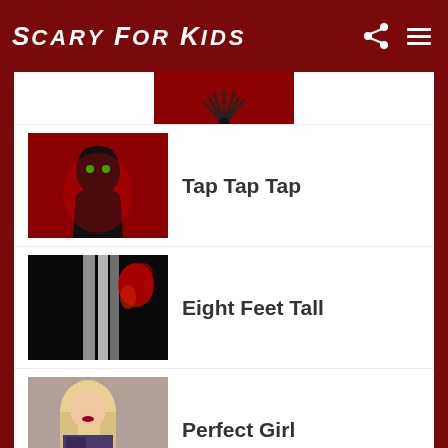SCARY FOR KIDS
[Figure (screenshot): Partial top of a thumbnail image showing a spider-like figure on red background]
Tap Tap Tap
Eight Feet Tall
Perfect Girl
New Message
Escape